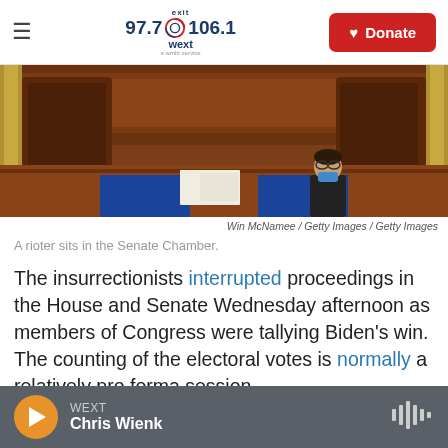exit 97.7 106.1 wext | Donate
[Figure (photo): A rioter sits in the Senate Chamber during the January 6 Capitol riot. The chamber shows wooden furniture, flags, blue seats, and a person wearing a mask seated at the dais.]
Win McNamee / Getty Images / Getty Images
A rioter sits in the Senate Chamber.
The insurrectionists interrupted proceedings in the House and Senate Wednesday afternoon as members of Congress were tallying Biden's win. The counting of the electoral votes is normally a relatively pro forma session.
WEXT Chris Wienk